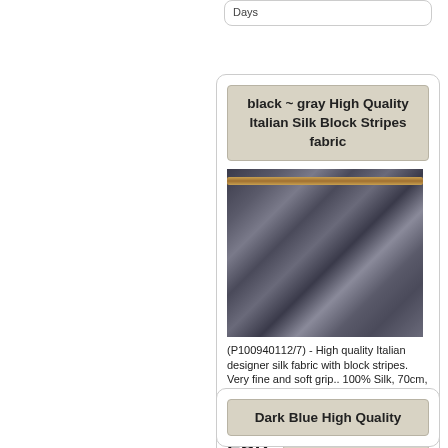Days
black ~ gray High Quality Italian Silk Block Stripes fabric
[Figure (photo): Photo of dark gray and black silk fabric with block stripes, draped over a surface with a golden rod/bar at the top]
(P100940112/7) - High quality Italian designer silk fabric with block stripes. Very fine and soft grip.. 100% Silk, 70cm, 70g/m
17,40 EUR incl. 19 % Tax excl. Shipping costs Shipping time: 1-2 Days
Dark Blue High Quality